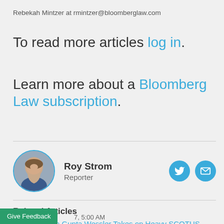Rebekah Mintzer at rmintzer@bloomberglaw.com
To read more articles log in.
Learn more about a Bloomberg Law subscription.
[Figure (illustration): Circular profile photo of Roy Strom with blue border]
Roy Strom
Reporter
[Figure (other): Twitter and email icon buttons in blue circles]
Related Articles
Boutique Firm Gupta Wessler Takes on Heavy SCOTUS Load
7, 5:00 AM
Give Feedback